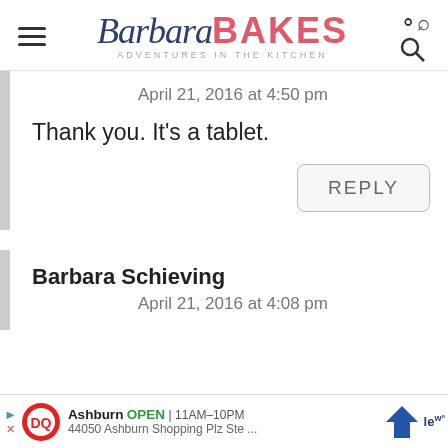Barbara BAKES - ADVENTURES IN THE KITCHEN
April 21, 2016 at 4:50 pm
Thank you. It's a tablet.
REPLY
Barbara Schieving
April 21, 2016 at 4:08 pm
[Figure (other): Dairy Queen advertisement banner showing Ashburn location, OPEN 11AM-10PM, 44050 Ashburn Shopping Plz Ste...]